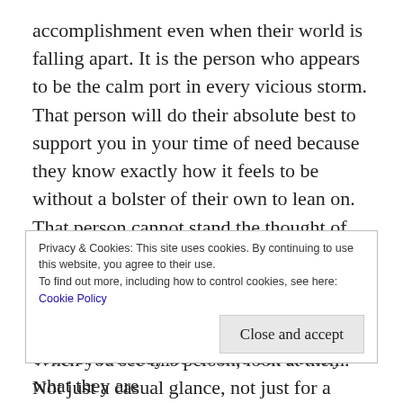accomplishment even when their world is falling apart. It is the person who appears to be the calm port in every vicious storm. That person will do their absolute best to support you in your time of need because they know exactly how it feels to be without a bolster of their own to lean on. That person cannot stand the thought of anyone else experiencing the mental, emotional, or physical suffering they experience every day of their lives.
When you see this person, look at them. Not just a casual glance, not just for a second. But, take the
Privacy & Cookies: This site uses cookies. By continuing to use this website, you agree to their use.
To find out more, including how to control cookies, see here: Cookie Policy
Close and accept
course. You may never find out exactly what they are